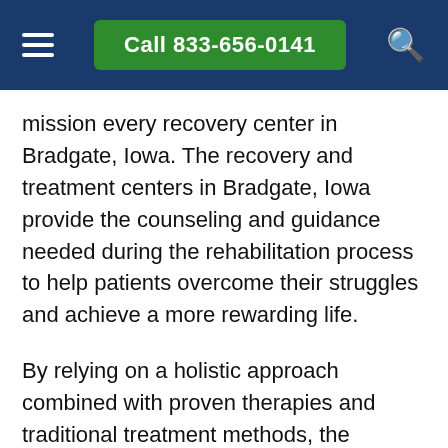Call 833-656-0141
mission every recovery center in Bradgate, Iowa. The recovery and treatment centers in Bradgate, Iowa provide the counseling and guidance needed during the rehabilitation process to help patients overcome their struggles and achieve a more rewarding life.
By relying on a holistic approach combined with proven therapies and traditional treatment methods, the recovery centers in Bradgate, Iowa are capable of adjusting to the needs of every patient. Being able to generate a customized plan for every patient allows